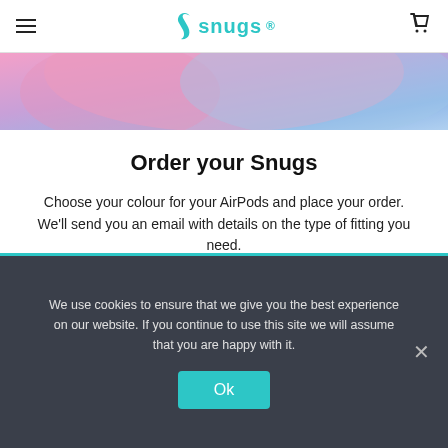snugs
[Figure (photo): Cropped photo showing a person wearing a pink sweater, with blue/purple background, close-up partial body shot]
Order your Snugs
Choose your colour for your AirPods and place your order. We'll send you an email with details on the type of fitting you need.
We use cookies to ensure that we give you the best experience on our website. If you continue to use this site we will assume that you are happy with it.